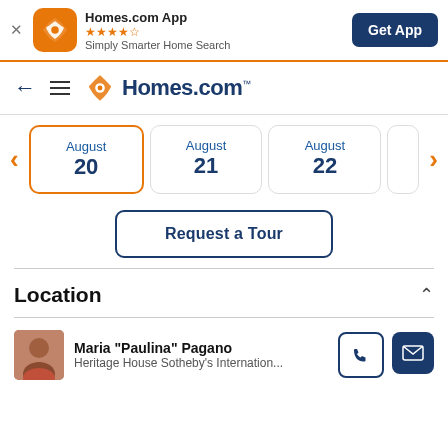[Figure (screenshot): Homes.com app banner with orange icon, star rating, tagline, and Get App button]
[Figure (logo): Homes.com navigation bar with back arrow, hamburger menu, and Homes.com logo]
[Figure (infographic): Date selector showing August 20 (selected), August 21, August 22 with orange left/right arrows]
[Figure (screenshot): Request a Tour button]
Location
[Figure (infographic): Agent card for Maria Paulina Pagano, Heritage House Sotheby's International, with phone and email buttons]